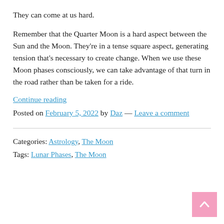They can come at us hard.
Remember that the Quarter Moon is a hard aspect between the Sun and the Moon. They’re in a tense square aspect, generating tension that’s necessary to create change. When we use these Moon phases consciously, we can take advantage of that turn in the road rather than be taken for a ride.
Continue reading
Posted on February 5, 2022 by Daz — Leave a comment
Categories: Astrology, The Moon
Tags: Lunar Phases, The Moon